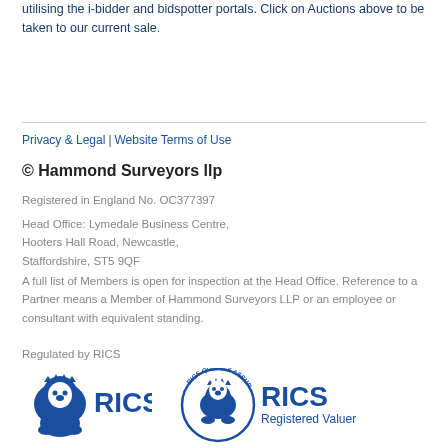utilising the i-bidder and bidspotter portals. Click on Auctions above to be taken to our current sale.
Privacy & Legal | Website Terms of Use
© Hammond Surveyors llp
Registered in England No. OC377397
Head Office: Lymedale Business Centre, Hooters Hall Road, Newcastle, Staffordshire, ST5 9QF
A full list of Members is open for inspection at the Head Office. Reference to a Partner means a Member of Hammond Surveyors LLP or an employee or consultant with equivalent standing.
Regulated by RICS
[Figure (logo): RICS logo — blue lion emblem with RICS text in bold blue]
[Figure (logo): RICS Quality Assured Registered Valuer logo — circular stamp with lion emblem and RICS Registered Valuer text]